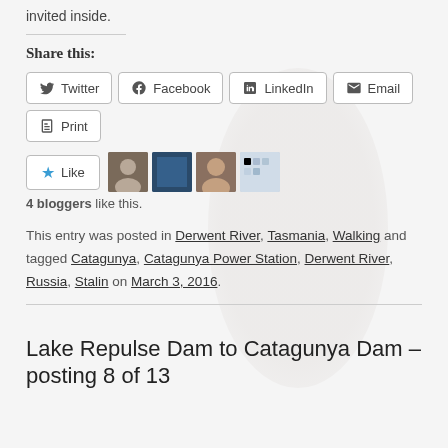invited inside.
Share this:
Twitter  Facebook  LinkedIn  Email  Print
4 bloggers like this.
This entry was posted in Derwent River, Tasmania, Walking and tagged Catagunya, Catagunya Power Station, Derwent River, Russia, Stalin on March 3, 2016.
Lake Repulse Dam to Catagunya Dam – posting 8 of 13